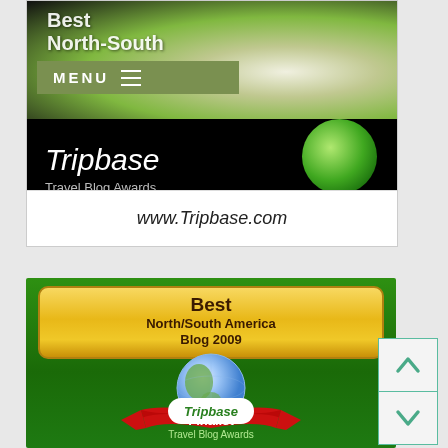[Figure (screenshot): Screenshot of a travel blog website showing 'North-South' header with green menu bar and Tripbase Travel Blog Awards badge with www.Tripbase.com URL]
[Figure (illustration): Tripbase Travel Blog Awards badge - Best North/South America Blog 2009 Finalist badge with globe, red ribbon, and golden trophy on green background]